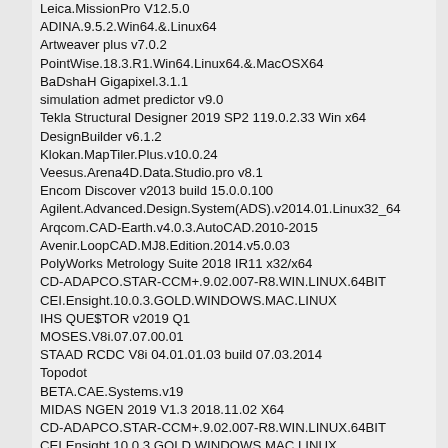Leica.MissionPro V12.5.0
ADINA.9.5.2.Win64.&.Linux64
Artweaver plus v7.0.2
PointWise.18.3.R1.Win64.Linux64.&.MacOSX64
BaDshaH Gigapixel.3.1.1
simulation admet predictor v9.0
Tekla Structural Designer 2019 SP2 119.0.2.33 Win x64
DesignBuilder v6.1.2
Klokan.MapTiler.Plus.v10.0.24
Veesus.Arena4D.Data.Studio.pro v8.1
Encom Discover v2013 build 15.0.0.100
Agilent.Advanced.Design.System(ADS).v2014.01.Linux32_64
Arqcom.CAD-Earth.v4.0.3.AutoCAD.2010-2015
Avenir.LoopCAD.MJ8.Edition.2014.v5.0.03
PolyWorks Metrology Suite 2018 IR11 x32/x64
CD-ADAPCO.STAR-CCM+.9.02.007-R8.WIN.LINUX.64BIT
CEI.Ensight.10.0.3.GOLD.WINDOWS.MAC.LINUX
IHS QUE$TOR v2019 Q1
MOSES.V8i.07.07.00.01
STAAD RCDC V8i 04.01.01.03 build 07.03.2014
Topodot
BETA.CAE.Systems.v19
MIDAS NGEN 2019 V1.3 2018.11.02 X64
CD-ADAPCO.STAR-CCM+.9.02.007-R8.WIN.LINUX.64BIT
CEI.Ensight.10.0.3.GOLD.WINDOWS.MAC.LINUX